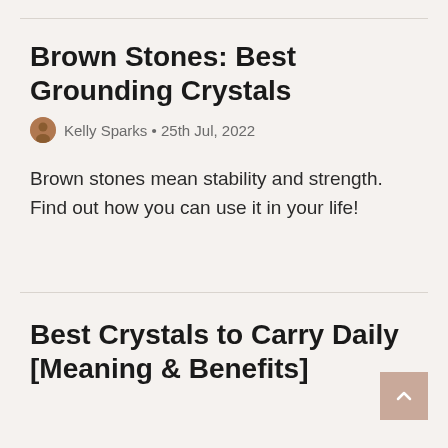Brown Stones: Best Grounding Crystals
Kelly Sparks • 25th Jul, 2022
Brown stones mean stability and strength. Find out how you can use it in your life!
Best Crystals to Carry Daily [Meaning & Benefits]